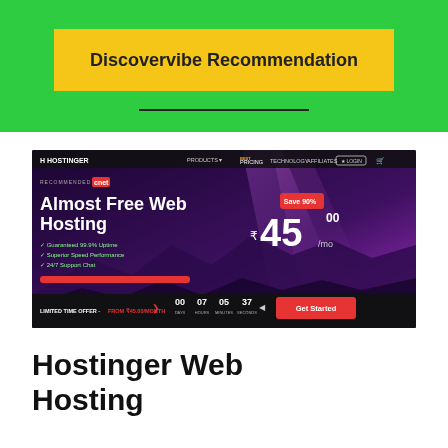Discovervibe Recommendation
[Figure (screenshot): Hostinger web hosting promotional screenshot showing 'Almost Free Web Hosting' with price ₹45.00/mo, Save 90% badge, countdown timer showing 00 days 07 hours 05 minutes 37 seconds, and Get Started button. Tagline: Recommended by cnet. Features listed: Guaranteed 99.9% Uptime, Superior Speed Performance, 24/7 Support Chat.]
Hostinger Web Hosting